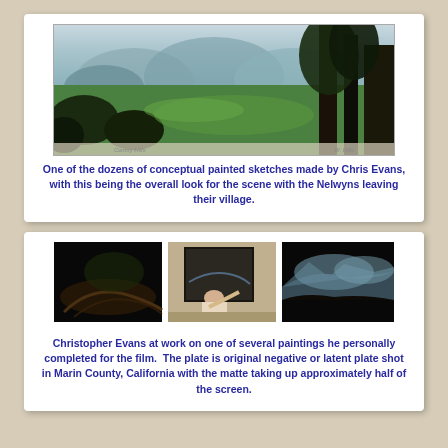[Figure (photo): A wide panoramic conceptual painted sketch showing a lush green valley with misty mountains in the background and large dark trees on the right side. Handwritten text visible at the bottom edge.]
One of the dozens of conceptual painted sketches made by Chris Evans, with this being the overall look for the scene with the Nelwyns leaving their village.
[Figure (photo): Three photographs side by side: left shows a dark close-up of a painted surface, center shows Christopher Evans at work on a painting at an easel, right shows a landscape matte painting with dark foreground and misty mountains.]
Christopher Evans at work on one of several paintings he personally completed for the film.  The plate is original negative or latent plate shot in Marin County, California with the matte taking up approximately half of the screen.